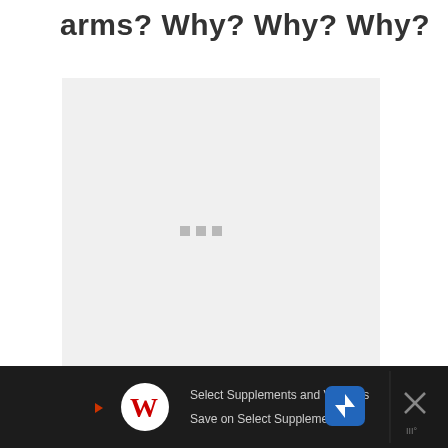arms? Why? Why? Why?
[Figure (screenshot): A loading placeholder box with light gray background and three gray loading dots centered in the middle, representing a content area still loading.]
[Figure (screenshot): A circular white share button with a red share/add icon (< with dots and plus sign) positioned at the bottom right.]
[Figure (screenshot): A dark advertisement bar at the bottom featuring a Walgreens logo (red W), text 'Select Supplements and Vitamins' and 'Save on Select Supplements', a blue navigation icon, and an X close button on the right.]